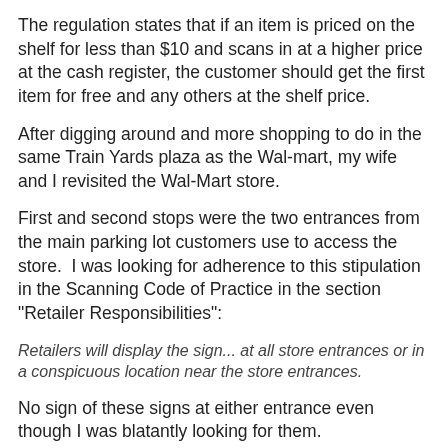The regulation states that if an item is priced on the shelf for less than $10 and scans in at a higher price at the cash register, the customer should get the first item for free and any others at the shelf price.
After digging around and more shopping to do in the same Train Yards plaza as the Wal-mart, my wife and I revisited the Wal-Mart store.
First and second stops were the two entrances from the main parking lot customers use to access the store.  I was looking for adherence to this stipulation in the Scanning Code of Practice in the section "Retailer Responsibilities":
Retailers will display the sign... at all store entrances or in a conspicuous location near the store entrances.
No sign of these signs at either entrance even though I was blatantly looking for them.
I investigated the cash registers and found these that adhere to the code under "Retailer Responsibilities":